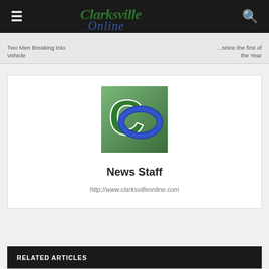Clarksville Online
Two Men Breaking Into Vehicle  |  the Year
[Figure (logo): Clarksville Online logo — green C with blue O interlinked on a green gradient background]
News Staff
http://www.clarksvilleonline.com
RELATED ARTICLES